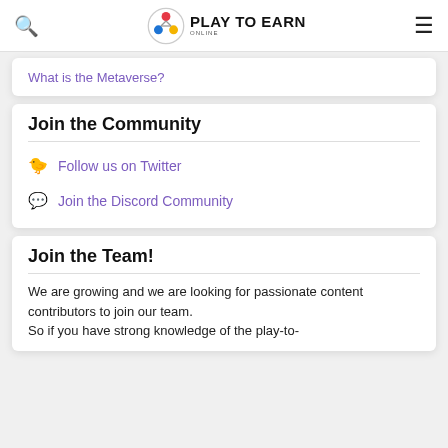Play To Earn Online
What is the Metaverse?
Join the Community
🐤 Follow us on Twitter
💬 Join the Discord Community
Join the Team!
We are growing and we are looking for passionate content contributors to join our team. So if you have strong knowledge of the play-to-